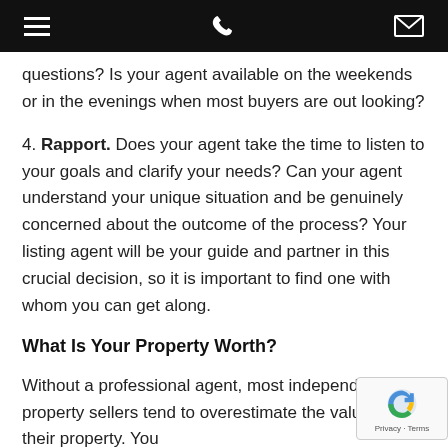[navigation bar with hamburger menu, phone icon, envelope icon]
questions? Is your agent available on the weekends or in the evenings when most buyers are out looking?
4. Rapport. Does your agent take the time to listen to your goals and clarify your needs? Can your agent understand your unique situation and be genuinely concerned about the outcome of the process? Your listing agent will be your guide and partner in this crucial decision, so it is important to find one with whom you can get along.
What Is Your Property Worth?
Without a professional agent, most independent property sellers tend to overestimate the value of their property. You can avoid this pitfall by consulting with an experienced real estate listing agent.